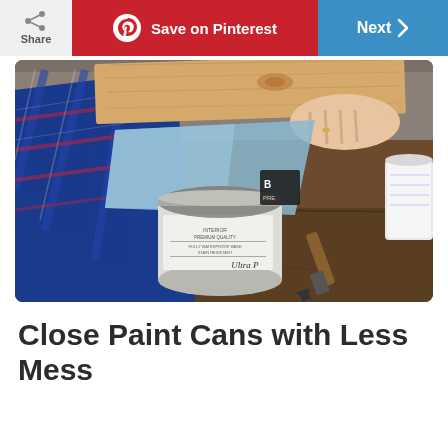Share | Save on Pinterest | Next
[Figure (photo): Person in blue plaid flannel shirt holding a wooden board over an open paint can (Benjamin Moore Ultra Premium), with a light blue cloth draped over the can opening. A paint brush rests on a worn wooden workbench surface. A white plastic mixing cup is visible on the right.]
Close Paint Cans with Less Mess